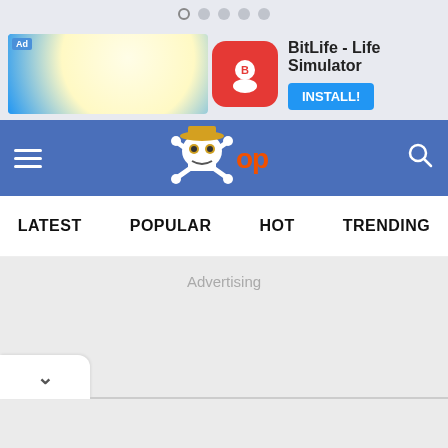Status bar dots
[Figure (screenshot): Ad banner for BitLife - Life Simulator with INSTALL button]
[Figure (logo): One Piece OP website logo with skull and crossbones wearing straw hat and orange OP text]
LATEST   POPULAR   HOT   TRENDING
Advertising
[Figure (other): Collapse chevron tab with down arrow]